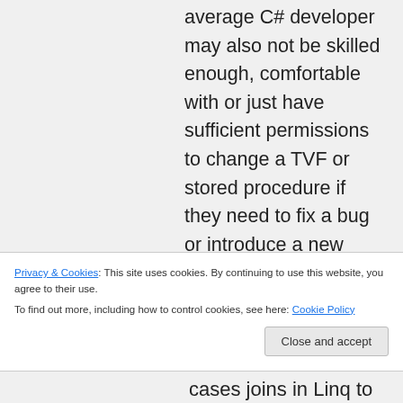average C# developer may also not be skilled enough, comfortable with or just have sufficient permissions to change a TVF or stored procedure if they need to fix a bug or introduce a new feature. Having said that – world is not black-and-white and sometimes it is necessary to use store functions – e.g. you work with a legacy database that already has stored procs you need need to use, the company has a policy that data is only accessed/modified
Privacy & Cookies: This site uses cookies. By continuing to use this website, you agree to their use.
To find out more, including how to control cookies, see here: Cookie Policy
cases joins in Linq to Entities queries are